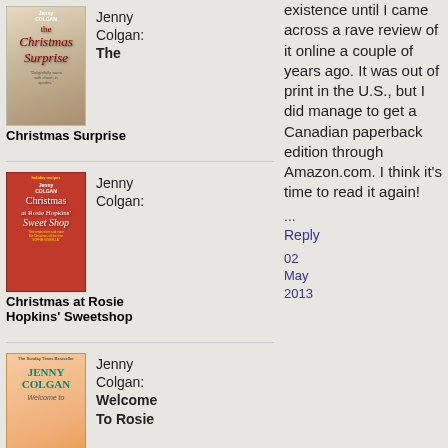[Figure (photo): Book cover: Jenny Colgan The Christmas Surprise]
Jenny Colgan: The
Christmas Surprise
[Figure (photo): Book cover: Jenny Colgan Christmas at Rosie Hopkins' Sweet Shop]
Jenny Colgan:
Christmas at Rosie Hopkins' Sweetshop
[Figure (photo): Book cover: Jenny Colgan Welcome to Rosie (partial)]
Jenny Colgan: Welcome To Rosie
existence until I came across a rave review of it online a couple of years ago. It was out of print in the U.S., but I did manage to get a Canadian paperback edition through Amazon.com. I think it's time to read it again!
...
Reply
02 May 2013